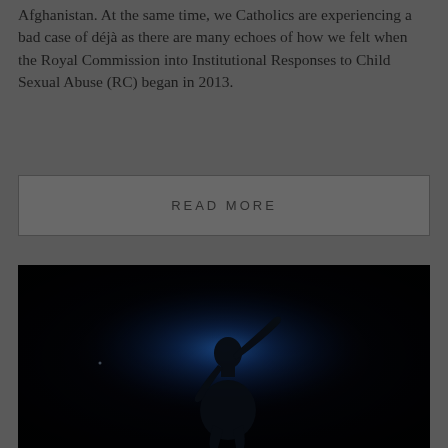Afghanistan. At the same time, we Catholics are experiencing a bad case of déjà as there are many echoes of how we felt when the Royal Commission into Institutional Responses to Child Sexual Abuse (RC) began in 2013.
READ MORE
[Figure (photo): Dark photograph showing a silhouette of a figure with an outstretched arm against a deep blue glowing background, creating a dramatic low-light scene.]